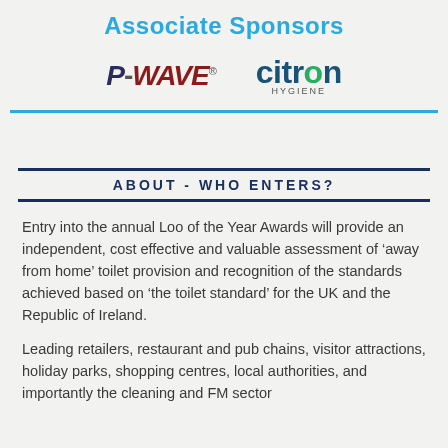Associate Sponsors
[Figure (logo): P-WAVE logo (stylized text with registered trademark symbol) and Citron Hygiene logo side by side]
ABOUT - WHO ENTERS?
Entry into the annual Loo of the Year Awards will provide an independent, cost effective and valuable assessment of ‘away from home’ toilet provision and recognition of the standards achieved based on ‘the toilet standard’ for the UK and the Republic of Ireland.
Leading retailers, restaurant and pub chains, visitor attractions, holiday parks, shopping centres, local authorities, and importantly the cleaning and FM sector